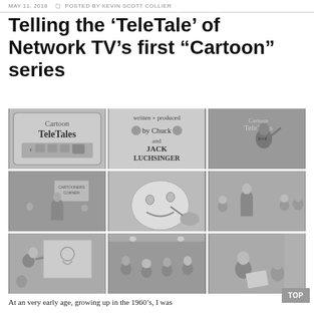MAY 11, 2018   POSTED BY KEVIN SCOTT COLLIER
Telling the ‘TeleTale’ of Network TV’s first “Cartoon” series
[Figure (photo): 3x3 grid of nine black-and-white photographs from the Cartoon TeleTales TV show, showing title cards reading 'Cartoon TeleTales' and 'Written & produced by Chuck and Jack Luchsinger', a man in a bow tie standing in front of a Cartoon TeleTales sign, a man at 'Cartoonerrs Corner' with children, a close-up of a cartoon being drawn, a man talking with children, a man drawing at a board, group of children and adults in a TV studio setting, and a person reading with a child.]
At an very early age, growing up in the 1960’s, I was